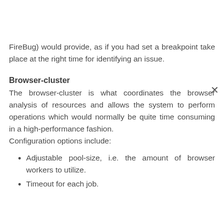FireBug) would provide, as if you had set a breakpoint take place at the right time for identifying an issue.
Browser-cluster
The browser-cluster is what coordinates the browser analysis of resources and allows the system to perform operations which would normally be quite time consuming in a high-performance fashion. Configuration options include:
Adjustable pool-size, i.e. the amount of browser workers to utilize.
Timeout for each job.